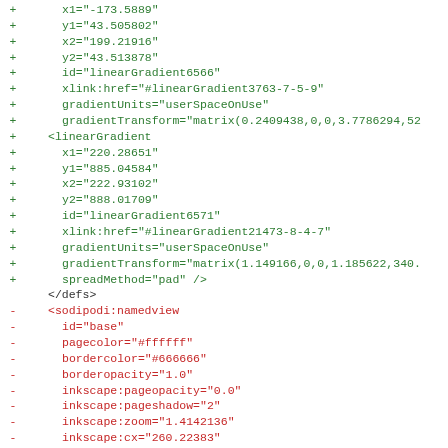Diff output of SVG/XML code showing added lines (green +) and removed lines (red -) including linearGradient elements and sodipodi:namedview attributes
[Figure (screenshot): Code diff view showing SVG XML with green (+) added lines for linearGradient attributes (x1, y1, x2, y2, id, xlink:href, gradientUnits, gradientTransform, spreadMethod) and red (-) removed lines for sodipodi:namedview element and its attributes (id, pagecolor, bordercolor, borderopacity, inkscape:pageopacity, inkscape:pageshadow, inkscape:zoom, inkscape:cx, inkscape:cy, inkscape:document-units, inkscape:current-layer, inkscape:window-width, inkscape:window-height)]